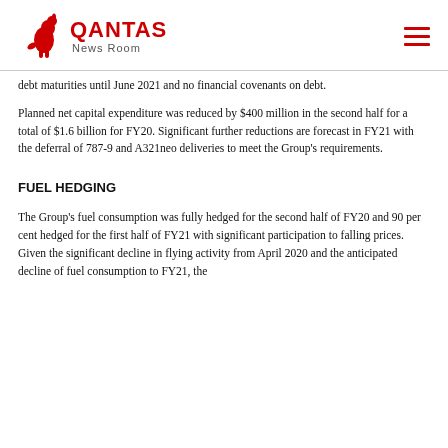QANTAS News Room
debt maturities until June 2021 and no financial covenants on debt.
Planned net capital expenditure was reduced by $400 million in the second half for a total of $1.6 billion for FY20. Significant further reductions are forecast in FY21 with the deferral of 787-9 and A321neo deliveries to meet the Group's requirements.
FUEL HEDGING
The Group's fuel consumption was fully hedged for the second half of FY20 and 90 per cent hedged for the first half of FY21 with significant participation to falling prices. Given the significant decline in flying activity from April 2020 and the anticipated decline of fuel consumption in FY21, the